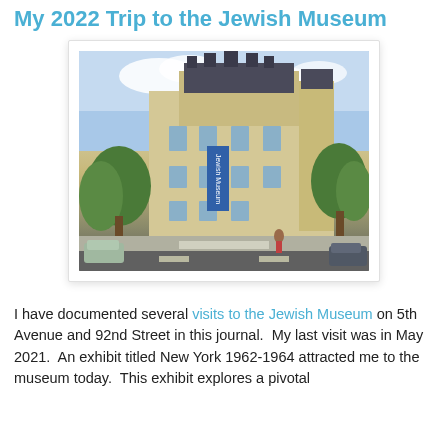My 2022 Trip to the Jewish Museum
[Figure (photo): Exterior photograph of the Jewish Museum building on 5th Avenue and 92nd Street in New York City, a large ornate French Gothic-style mansion with a blue vertical banner reading 'Jewish Museum', surrounded by trees, taken from street level at an intersection.]
I have documented several visits to the Jewish Museum on 5th Avenue and 92nd Street in this journal.  My last visit was in May 2021.  An exhibit titled New York 1962-1964 attracted me to the museum today.  This exhibit explores a pivotal